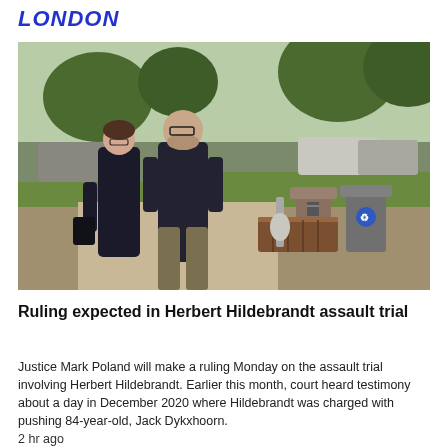LONDON
[Figure (photo): Two people walking on a sidewalk outdoors. A woman in a dark dress on the left and a bald man with glasses wearing a dark jacket and khaki pants on the right. Trees, parked vehicles, and public trash/recycling bins are visible in the background on a sunny day.]
Ruling expected in Herbert Hildebrandt assault trial
Justice Mark Poland will make a ruling Monday on the assault trial involving Herbert Hildebrandt. Earlier this month, court heard testimony about a day in December 2020 where Hildebrandt was charged with pushing 84-year-old, Jack Dykxhoorn.
2 hr ago